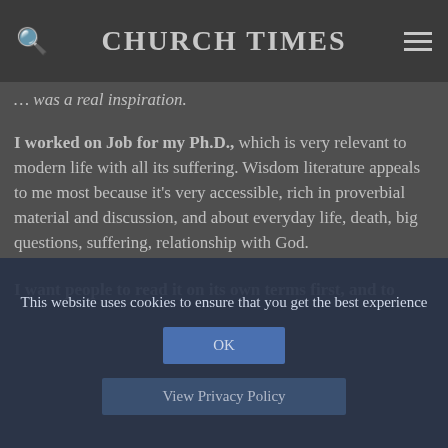CHURCH TIMES
… was a real inspiration.
I worked on Job for my Ph.D., which is very relevant to modern life with all its suffering. Wisdom literature appeals to me most because it's very accessible, rich in proverbial material and discussion, and about everyday life, death, big questions, suffering, relationship with God.
I want people to read it on its own terms first, and to
This website uses cookies to ensure that you get the best experience
OK
View Privacy Policy